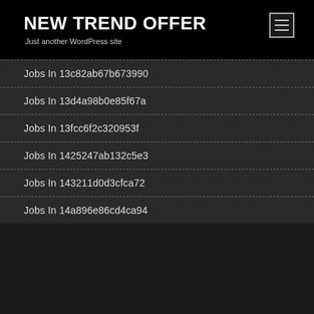NEW TREND OFFER
Just another WordPress site
Jobs In 13c82ab67b673990
Jobs In 13d4a98b0e85f67a
Jobs In 13fcc6f2c320953f
Jobs In 1425247ab132c5e3
Jobs In 143211d0d3cfca72
Jobs In 14a896e86cd4ca94